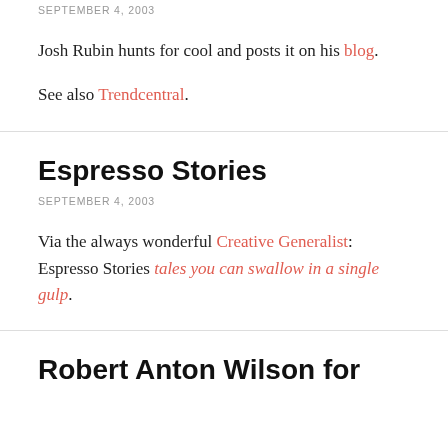SEPTEMBER 4, 2003
Josh Rubin hunts for cool and posts it on his blog.
See also Trendcentral.
Espresso Stories
SEPTEMBER 4, 2003
Via the always wonderful Creative Generalist: Espresso Stories tales you can swallow in a single gulp.
Robert Anton Wilson for